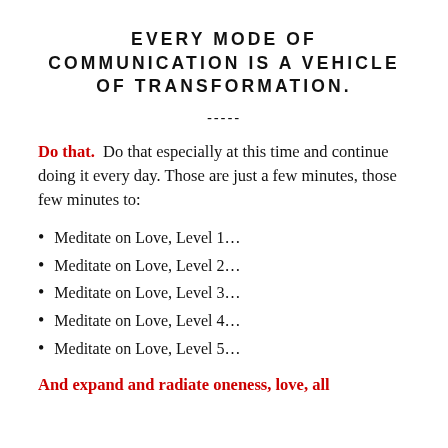EVERY MODE OF COMMUNICATION IS A VEHICLE OF TRANSFORMATION.
-----
Do that.  Do that especially at this time and continue doing it every day. Those are just a few minutes, those few minutes to:
Meditate on Love, Level 1…
Meditate on Love, Level 2…
Meditate on Love, Level 3…
Meditate on Love, Level 4…
Meditate on Love, Level 5…
And expand and radiate oneness, love, all